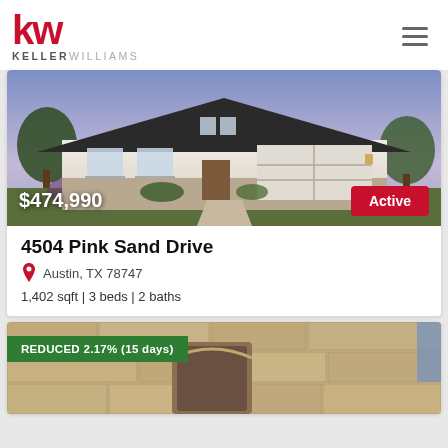Keller Williams
[Figure (photo): Exterior photo of a single-story house with dark roof, white stucco walls, two-car garage, landscaped front yard, twilight sky. Price badge $474,990 and Active status badge overlaid.]
4504 Pink Sand Drive
Austin, TX 78747
1,402 sqft | 3 beds | 2 baths
[Figure (photo): Exterior photo of a stone-clad house, partially visible. REDUCED 2.17% (15 days) badge overlaid at top left.]